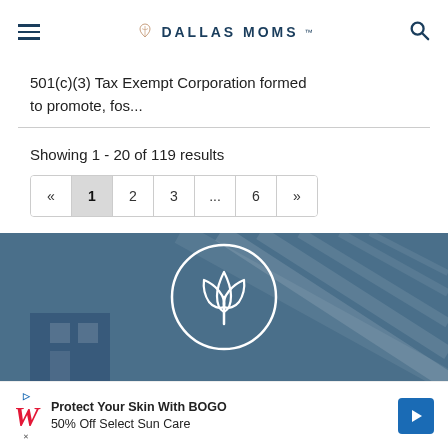DALLAS MOMS
501(c)(3) Tax Exempt Corporation formed to promote, fos...
Showing 1 - 20 of 119 results
« 1 2 3 ... 6 »
[Figure (logo): Dallas Moms flower/tulip logo in white on blue background]
[Figure (screenshot): Walgreens advertisement banner: Protect Your Skin With BOGO 50% Off Select Sun Care]